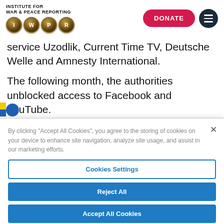INSTITUTE FOR WAR & PEACE REPORTING / IWPR - DONATE
service Uzodlik, Current Time TV, Deutsche Welle and Amnesty International.
The following month, the authorities unblocked access to Facebook and YouTube.
By clicking "Accept All Cookies", you agree to the storing of cookies on your device to enhance site navigation, analyze site usage, and assist in our marketing efforts.
Cookies Settings
Reject All
Accept All Cookies